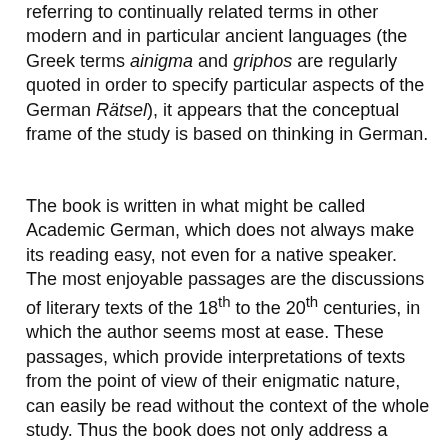referring to continually related terms in other modern and in particular ancient languages (the Greek terms ainigma and griphos are regularly quoted in order to specify particular aspects of the German Rätsel), it appears that the conceptual frame of the study is based on thinking in German.
The book is written in what might be called Academic German, which does not always make its reading easy, not even for a native speaker. The most enjoyable passages are the discussions of literary texts of the 18th to the 20th centuries, in which the author seems most at ease. These passages, which provide interpretations of texts from the point of view of their enigmatic nature, can easily be read without the context of the whole study. Thus the book does not only address a readership with an interest in the philosophy of enigma and riddle, comparative literature, or more broadly Geistesgeschichte, but can also be relevant to students of literature of a particular period or a particular author.